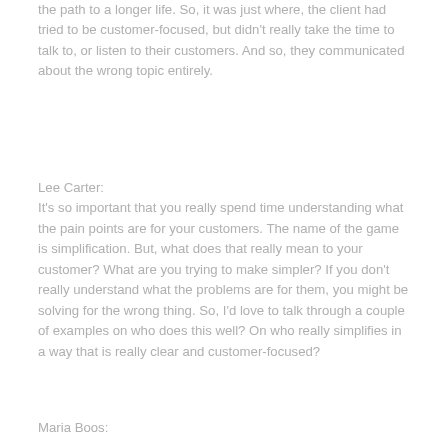the path to a longer life.  So, it was just where, the client had tried to be customer-focused, but didn't really take the time to talk to, or listen to their customers.  And so, they communicated about the wrong topic entirely.
Lee Carter:
It's so important that you really spend time understanding what the pain points are for your customers.  The name of the game is simplification.  But, what does that really mean to your customer?  What are you trying to make simpler? If you don't really understand what the problems are for them, you might be solving for the wrong thing. So, I'd love to talk through a couple of examples on who does this well? On who really simplifies in a way that is really clear and customer-focused?
Maria Boos: